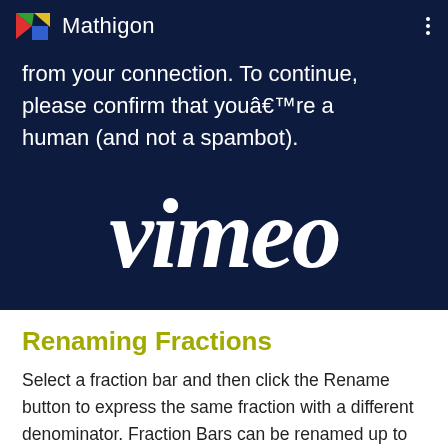Mathigon
from your connection. To continue, please confirm that youâ€™re a human (and not a spambot).
[Figure (logo): Vimeo logo in white italic script text on dark navy background]
Renaming Fractions
Select a fraction bar and then click the Rename button to express the same fraction with a different denominator. Fraction Bars can be renamed up to 1/32